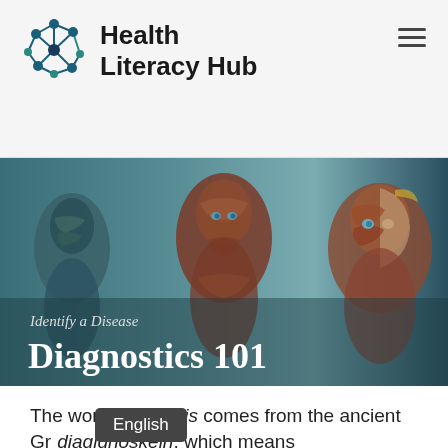Health Literacy Hub
[Figure (illustration): Three anatomical human figure models showing muscle structure, arranged side by side against a teal-gray background. Overlaid text reads 'Identify a Disease' and 'Diagnostics 101'.]
Diagnostics 101
Identify a Disease
The word Diagnosis comes from the ancient Gr... diagignōskein, which means "to discover" or "discern". This is how a f...
English